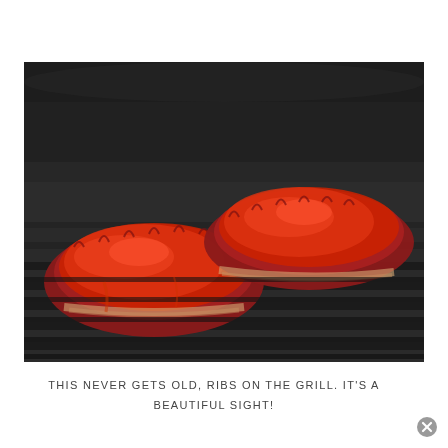[Figure (photo): Two racks of BBQ ribs coated in red barbecue sauce sitting on dark grill grates, photographed from above at an angle. The ribs are glazed and appear to be freshly grilled.]
THIS NEVER GETS OLD, RIBS ON THE GRILL. IT'S A BEAUTIFUL SIGHT!